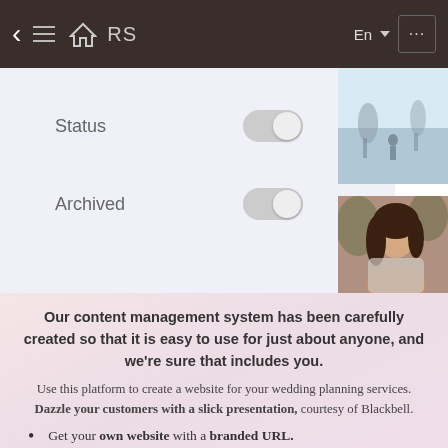< FILTERS  En  ...
[Figure (screenshot): Filter panel showing Status and Archived toggle switches (both off/grey), with two photo thumbnails on the right — a winter outdoor scene and a portrait of a woman with long brown hair.]
Our content management system has been carefully created so that it is easy to use for just about anyone, and we're sure that includes you.
Use this platform to create a website for your wedding planning services. Dazzle your customers with a slick presentation, courtesy of Blackbell.
Get your own website with a branded URL.